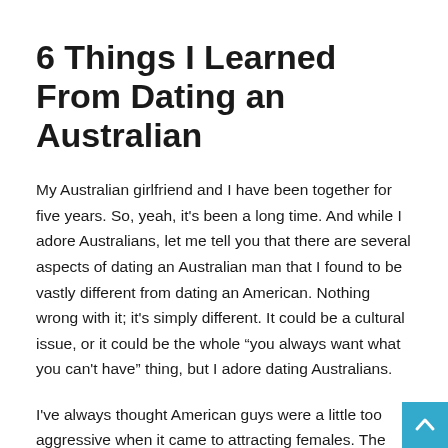6 Things I Learned From Dating an Australian
My Australian girlfriend and I have been together for five years. So, yeah, it's been a long time. And while I adore Australians, let me tell you that there are several aspects of dating an Australian man that I found to be vastly different from dating an American. Nothing wrong with it; it's simply different. It could be a cultural issue, or it could be the whole “you always want what you can't have” thing, but I adore dating Australians.
I've always thought American guys were a little too aggressive when it came to attracting females. The Australian...